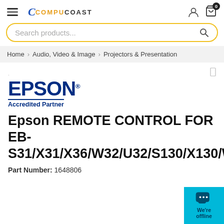CompuCoast — Search products...
Home > Audio, Video & Image > Projectors & Presentation
[Figure (logo): Epson Accredited Partner logo — dark blue EPSON wordmark with registered trademark, blue underline, bold blue 'Accredited Partner' text]
Epson REMOTE CONTROL FOR EB-S31/X31/X36/W32/U32/S130/X130/W130/U130
Part Number: 1648806